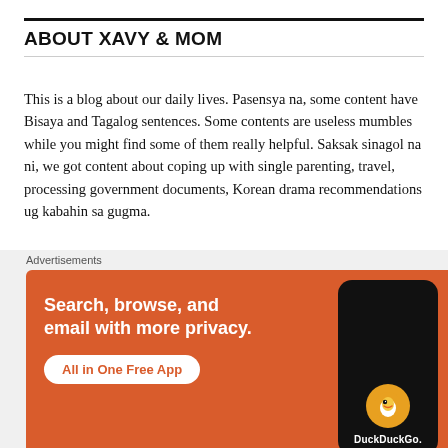ABOUT XAVY & MOM
This is a blog about our daily lives. Pasensya na, some content have Bisaya and Tagalog sentences. Some contents are useless mumbles while you might find some of them really helpful. Saksak sinagol na ni, we got content about coping up with single parenting, travel, processing government documents, Korean drama recommendations ug kabahin sa gugma.
TAGS
100 Happy Days   kdrama   Korean TV Series
[Figure (screenshot): DuckDuckGo advertisement banner: orange background with text 'Search, browse, and email with more privacy. All in One Free App' with a phone mockup showing the DuckDuckGo logo.]